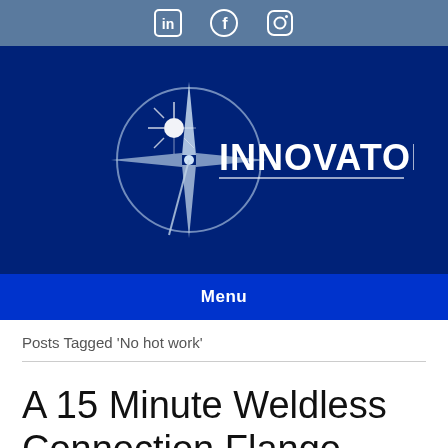LinkedIn | Facebook | Instagram
[Figure (logo): Innovator company logo: compass rose / star design in white on dark navy blue background with text INNOVATOR in white bold letters]
[Figure (other): Menu navigation bar in blue with bold white text Menu]
Posts Tagged 'No hot work'
A 15 Minute Weldless Connection Flange